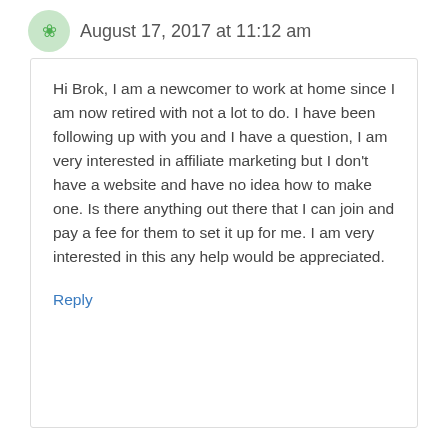August 17, 2017 at 11:12 am
Hi Brok, I am a newcomer to work at home since I am now retired with not a lot to do. I have been following up with you and I have a question, I am very interested in affiliate marketing but I don't have a website and have no idea how to make one. Is there anything out there that I can join and pay a fee for them to set it up for me. I am very interested in this any help would be appreciated.
Reply